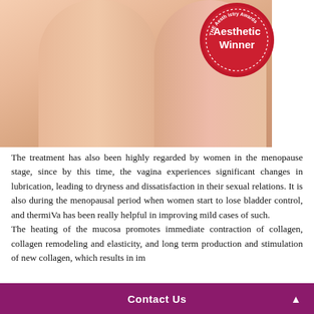[Figure (photo): Close-up photo of a woman's legs/thighs with a red 'Aesthetic Winner' award badge overlaid in the upper right corner]
The treatment has also been highly regarded by women in the menopause stage, since by this time, the vagina experiences significant changes in lubrication, leading to dryness and dissatisfaction in their sexual relations. It is also during the menopausal period when women start to lose bladder control, and thermiVa has been really helpful in improving mild cases of such.
The heating of the mucosa promotes immediate contraction of collagen, collagen remodeling and elasticity, and long term production and stimulation of new collagen, which results in im
Contact Us